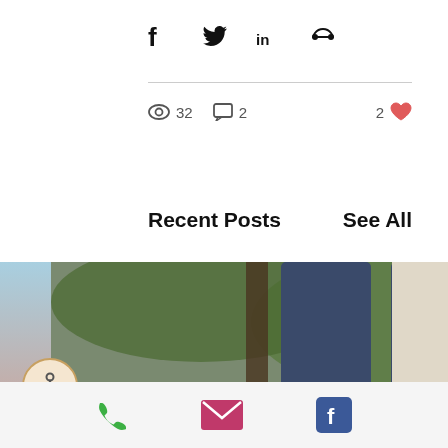[Figure (infographic): Social share icons: Facebook, Twitter, LinkedIn, link/chain]
32 views  2 comments  2 likes
Recent Posts
See All
[Figure (photo): Bare feet standing on a wooden deck with green foliage blurred in background, wearing blue jeans]
The Upanishads, Mel Robbins, and Rumi
[Figure (infographic): Accessibility icon button (person in circle), phone icon (green), email icon (pink/red envelope), Facebook icon (blue)]